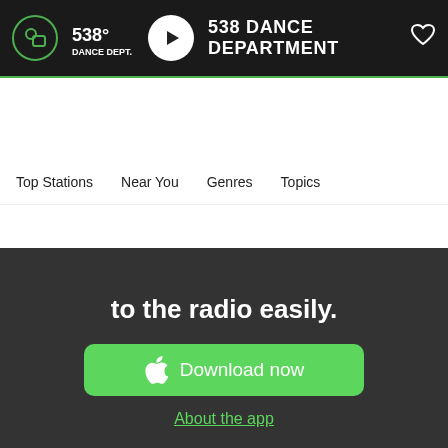[Figure (screenshot): Top navigation bar with 538 Dance Department logo, play button, station name, and heart icon on dark background with green accent border]
Top Stations  Near You  Genres  Topics
[Figure (screenshot): Dark promo section showing 'to the radio easily.' text, green Download now button with Apple logo, and green 'About the app' link]
538 DANCE DEPARTMENT: Stations in Family
[Figure (screenshot): Row of radio station tiles: cyan, yellow, white, and purple tiles each showing '538' branding with colored dots]